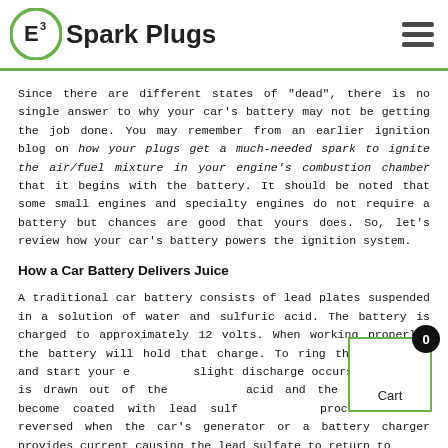E3 Spark Plugs
Since there are different states of "dead", there is no single answer to why your car's battery may not be getting the job done. You may remember from an earlier ignition blog on how your plugs get a much-needed spark to ignite the air/fuel mixture in your engine's combustion chamber that it begins with the battery. It should be noted that some small engines and specialty engines do not require a battery but chances are good that yours does. So, let's review how your car's battery powers the ignition system.
How a Car Battery Delivers Juice
A traditional car battery consists of lead plates suspended in a solution of water and sulfuric acid. The battery is charged to approximately 12 volts. When working properly, the battery will hold that charge. To ring the key chime and start your engine, a slight discharge occurs and sulfur is drawn out of the sulfuric acid and the lead plates become coated with lead sulfate. This process can be reversed when the car's generator or a battery charger provides current causing the lead sulfate to return to